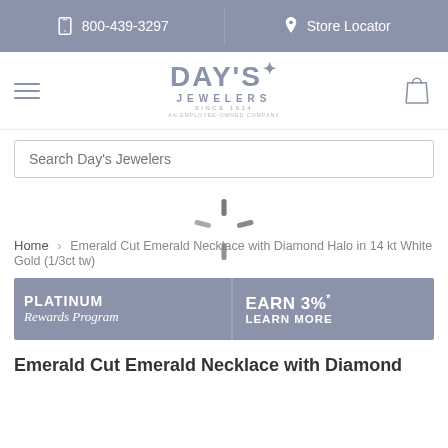800-439-3297  Store Locator
[Figure (logo): Day's Jewelers logo with star, 'Since 1914', employee-owned company text]
Search Day's Jewelers
Home › Emerald Cut Emerald Necklace with Diamond Halo in 14 kt White Gold (1/3ct tw)
[Figure (infographic): Platinum Rewards Program banner: EARN 3%* LEARN MORE]
Emerald Cut Emerald Necklace with Diamond